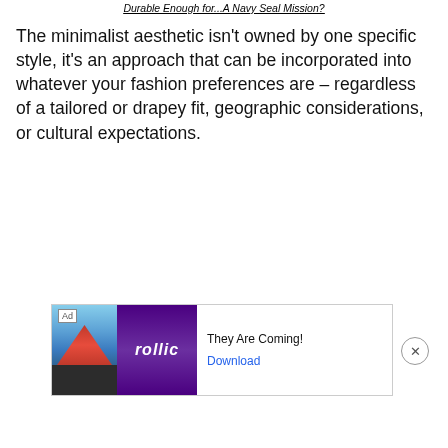Durable Enough for...A Navy Seal Mission?
The minimalist aesthetic isn't owned by one specific style, it's an approach that can be incorporated into whatever your fashion preferences are – regardless of a tailored or drapey fit, geographic considerations, or cultural expectations.
[Figure (other): Advertisement banner: Ad label, image with mountain/triangle graphic and Rollic logo, text 'They Are Coming!' and 'Download' button, with close (X) button]